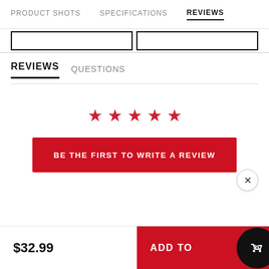PRODUCT SHOTS   SPECIFICATIONS   REVIEWS
REVIEWS   QUESTIONS
[Figure (other): Five red star icons indicating a 0-review rating prompt]
BE THE FIRST TO WRITE A REVIEW
$32.99   ADD TO